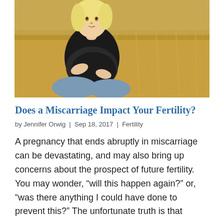[Figure (photo): A pregnant woman with blonde hair, wearing a black t-shirt and light blue jeans, sitting cross-legged outdoors in a field of dry golden grass, holding her belly with both hands.]
Does a Miscarriage Impact Your Fertility?
by Jennifer Orwig | Sep 18, 2017 | Fertility
A pregnancy that ends abruptly in miscarriage can be devastating, and may also bring up concerns about the prospect of future fertility. You may wonder, “will this happen again?” or, “was there anything I could have done to prevent this?” The unfortunate truth is that...